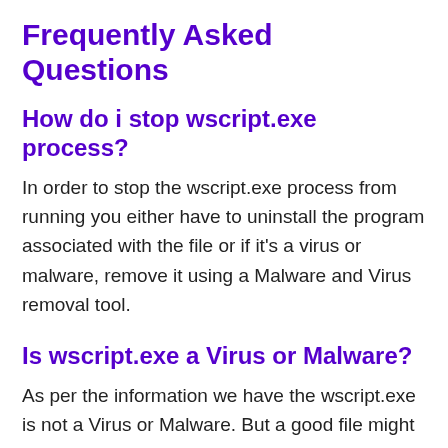Frequently Asked Questions
How do i stop wscript.exe process?
In order to stop the wscript.exe process from running you either have to uninstall the program associated with the file or if it's a virus or malware, remove it using a Malware and Virus removal tool.
Is wscript.exe a Virus or Malware?
As per the information we have the wscript.exe is not a Virus or Malware. But a good file might be